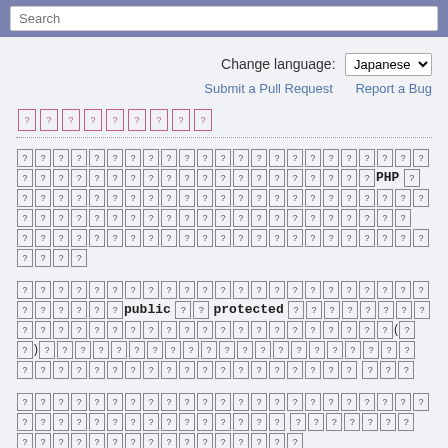Search
Change language: Japanese
Submit a Pull Request   Report a Bug
[Japanese characters - page title with question mark boxes]
[Japanese text paragraph mentioning PHP]
[Japanese text paragraph mentioning public, protected]
[Japanese text paragraph]